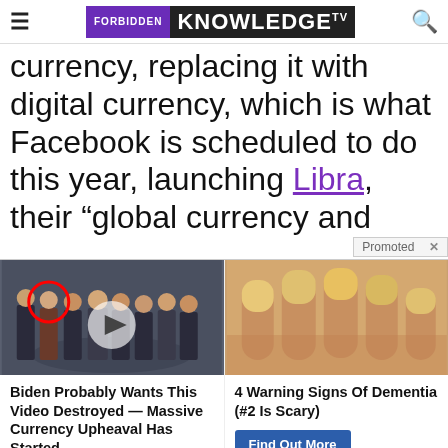FORBIDDEN KNOWLEDGE TV
currency, replacing it with digital currency, which is what Facebook is scheduled to do this year, launching Libra, their “global currency and…
[Figure (screenshot): Promoted ad banner with two ad cards: left shows a group of people photo with play button and red circle; right shows close-up of fingernails]
Biden Probably Wants This Video Destroyed — Massive Currency Upheaval Has Started
4 Warning Signs Of Dementia (#2 Is Scary)